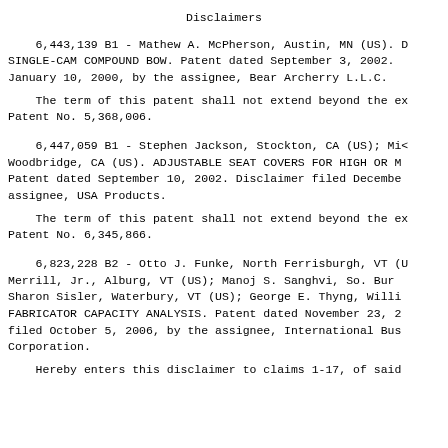Disclaimers
6,443,139 B1 - Mathew A. McPherson, Austin, MN (US). SINGLE-CAM COMPOUND BOW. Patent dated September 3, 2002. January 10, 2000, by the assignee, Bear Archerry L.L.C.
The term of this patent shall not extend beyond the expiration of Patent No. 5,368,006.
6,447,059 B1 - Stephen Jackson, Stockton, CA (US); Mio Woodbridge, CA (US). ADJUSTABLE SEAT COVERS FOR HIGH OR M Patent dated September 10, 2002. Disclaimer filed December assignee, USA Products.
The term of this patent shall not extend beyond the expiration of Patent No. 6,345,866.
6,823,228 B2 - Otto J. Funke, North Ferrisburgh, VT (U Merrill, Jr., Alburg, VT (US); Manoj S. Sanghvi, So. Bur Sharon Sisler, Waterbury, VT (US); George E. Thyng, Willi FABRICATOR CAPACITY ANALYSIS. Patent dated November 23, 2 filed October 5, 2006, by the assignee, International Bus Corporation.
Hereby enters this disclaimer to claims 1-17, of said